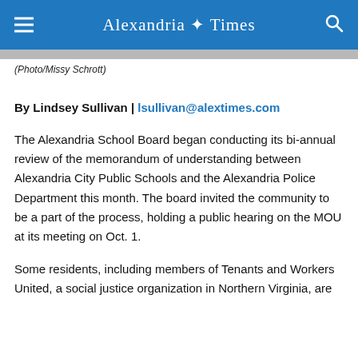Alexandria Times
[Figure (photo): Cropped photo strip visible at top of article]
(Photo/Missy Schrott)
By Lindsey Sullivan | lsullivan@alextimes.com
The Alexandria School Board began conducting its bi-annual review of the memorandum of understanding between Alexandria City Public Schools and the Alexandria Police Department this month. The board invited the community to be a part of the process, holding a public hearing on the MOU at its meeting on Oct. 1.
Some residents, including members of Tenants and Workers United, a social justice organization in Northern Virginia, are